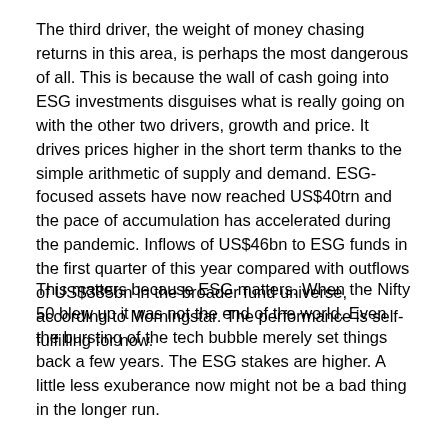The third driver, the weight of money chasing returns in this area, is perhaps the most dangerous of all. This is because the wall of cash going into ESG investments disguises what is really going on with the other two drivers, growth and price. It drives prices higher in the short term thanks to the simple arithmetic of supply and demand. ESG-focused assets have now reached US$40trn and the pace of accumulation has accelerated during the pandemic. Inflows of US$46bn to ESG funds in the first quarter of this year compared with outflows of US$385bn in the broader fund universe, according to Morningstar. The performance is self-fulfilling for now.
This matters because ESG matters. When the Nifty 50 blew up it was not the end of the world. Even the bursting of the tech bubble merely set things back a few years. The ESG stakes are higher. A little less exuberance now might not be a bad thing in the longer run.